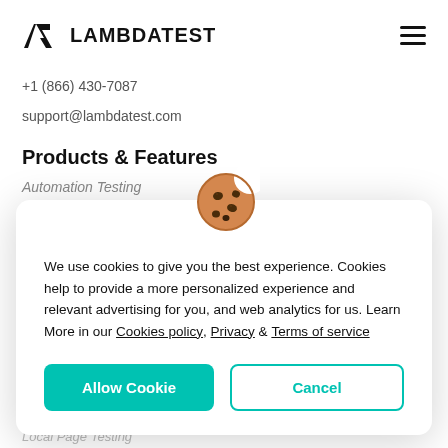LAMBDATEST
+1 (866) 430-7087
support@lambdatest.com
Products & Features
Automation Testing
[Figure (illustration): Cookie emoji icon — a round cookie with chocolate chip spots and a bite taken out]
We use cookies to give you the best experience. Cookies help to provide a more personalized experience and relevant advertising for you, and web analytics for us. Learn More in our Cookies policy, Privacy & Terms of service
Allow Cookie
Cancel
Local Page Testing